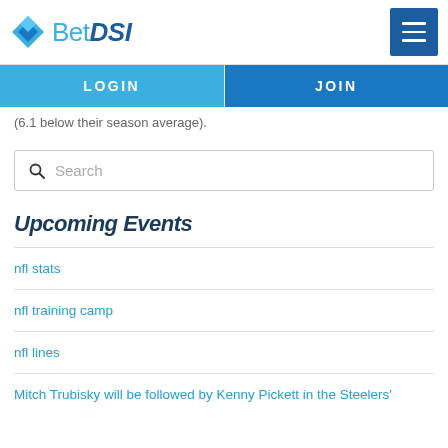BetDSI
LOGIN   JOIN
(6.1 below their season average).
Search
Upcoming Events
nfl stats
nfl training camp
nfl lines
Mitch Trubisky will be followed by Kenny Pickett in the Steelers'